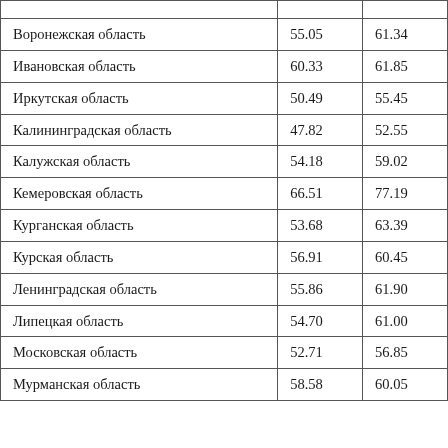|  |  |  |
| --- | --- | --- |
|  |  |  |
| Воронежская область | 55.05 | 61.34 |
| Ивановская область | 60.33 | 61.85 |
| Иркутская область | 50.49 | 55.45 |
| Калининградская область | 47.82 | 52.55 |
| Калужская область | 54.18 | 59.02 |
| Кемеровская область | 66.51 | 77.19 |
| Курганская область | 53.68 | 63.39 |
| Курская область | 56.91 | 60.45 |
| Ленинградская область | 55.86 | 61.90 |
| Липецкая область | 54.70 | 61.00 |
| Московская область | 52.71 | 56.85 |
| Мурманская область | 58.58 | 60.05 |